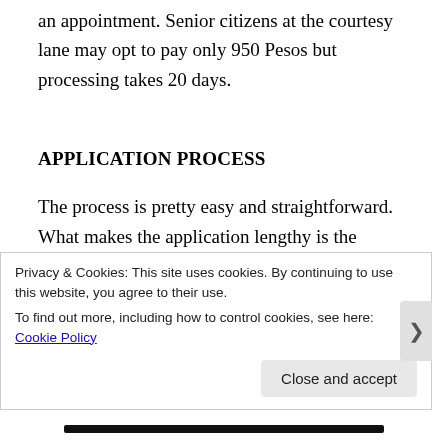an appointment. Senior citizens at the courtesy lane may opt to pay only 950 Pesos but processing takes 20 days.
APPLICATION PROCESS
The process is pretty easy and straightforward. What makes the application lengthy is the number of people renewing during the day.  I remember when I
Privacy & Cookies: This site uses cookies. By continuing to use this website, you agree to their use.
To find out more, including how to control cookies, see here: Cookie Policy
Close and accept